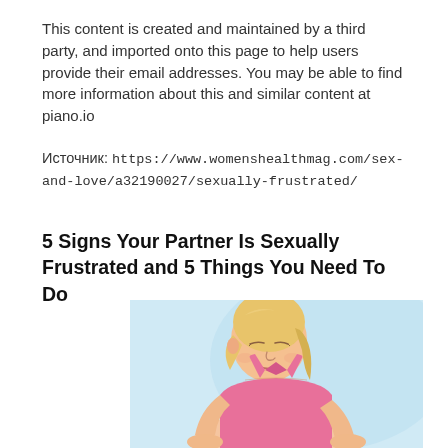This content is created and maintained by a third party, and imported onto this page to help users provide their email addresses. You may be able to find more information about this and similar content at piano.io
Источник: https://www.womenshealthmag.com/sex-and-love/a32190027/sexually-frustrated/
5 Signs Your Partner Is Sexually Frustrated and 5 Things You Need To Do
[Figure (illustration): Illustration of a woman with blonde hair in a ponytail, wearing a pink sports bra, looking down with her eyes closed, set against a light blue background.]